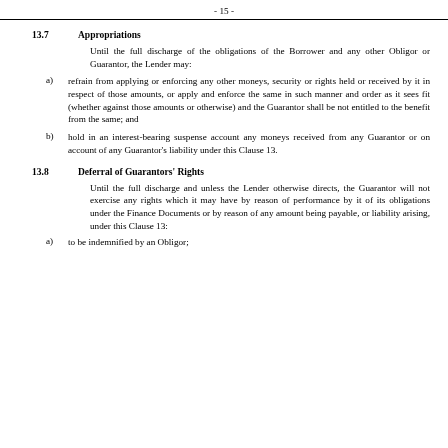- 15 -
13.7    Appropriations
Until the full discharge of the obligations of the Borrower and any other Obligor or Guarantor, the Lender may:
a)  refrain from applying or enforcing any other moneys, security or rights held or received by it in respect of those amounts, or apply and enforce the same in such manner and order as it sees fit (whether against those amounts or otherwise) and the Guarantor shall be not entitled to the benefit from the same; and
b)  hold in an interest-bearing suspense account any moneys received from any Guarantor or on account of any Guarantor's liability under this Clause 13.
13.8    Deferral of Guarantors' Rights
Until the full discharge and unless the Lender otherwise directs, the Guarantor will not exercise any rights which it may have by reason of performance by it of its obligations under the Finance Documents or by reason of any amount being payable, or liability arising, under this Clause 13:
a)  to be indemnified by an Obligor;